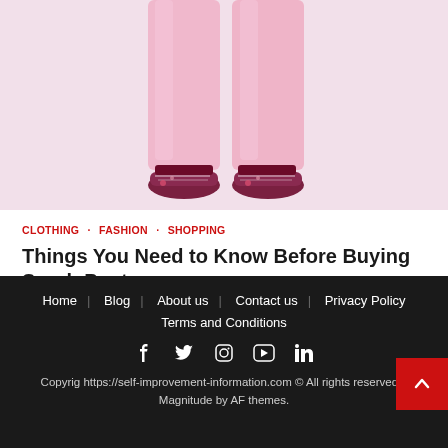[Figure (photo): Lower body of a person wearing pink/light pink scrub pants and colorful sneakers on white background]
CLOTHING · FASHION · SHOPPING
Things You Need to Know Before Buying Scrub Pants
Home | Blog | About us | Contact us | Privacy Policy | Terms and Conditions
Copyrig https://self-improvement-information.com © All rights reserved. | Magnitude by AF themes.